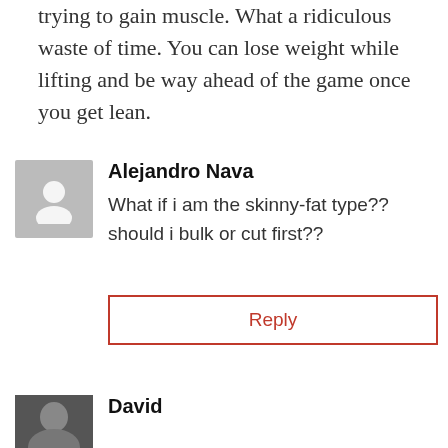trying to gain muscle. What a ridiculous waste of time. You can lose weight while lifting and be way ahead of the game once you get lean.
Alejandro Nava
What if i am the skinny-fat type?? should i bulk or cut first??
Reply
David